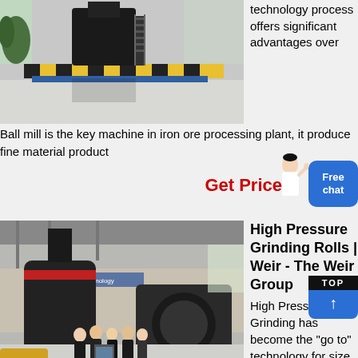[Figure (photo): Industrial facility interior showing large black machinery with yellow and black safety striping, stairs, and polished floor.]
technology process offers significant advantages over
Ball mill is the key machine in iron ore processing plant, it produce fine material product
Get Price
[Figure (infographic): Free chat button (blue rounded rectangle with 'Free chat' text) and assistant figure (woman in white). TOP widget (black/blue with upward arrow).]
[Figure (photo): Large industrial hall with heavy grinding machinery and a group of people in business attire viewing the equipment.]
High Pressure Grinding Rolls | Weir - The Weir Group
High Pressure Grinding has become the "go to" technology for size reduction in from coarse